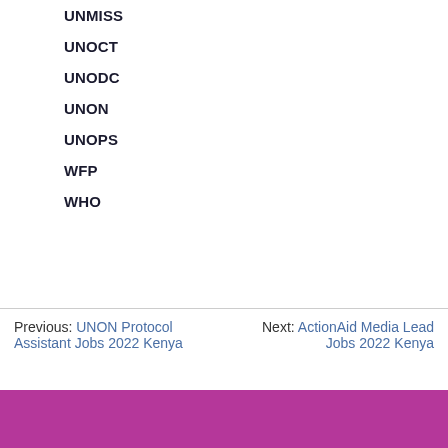UNMISS
UNOCT
UNODC
UNON
UNOPS
WFP
WHO
Previous: UNON Protocol Assistant Jobs 2022 Kenya   Next: ActionAid Media Lead Jobs 2022 Kenya